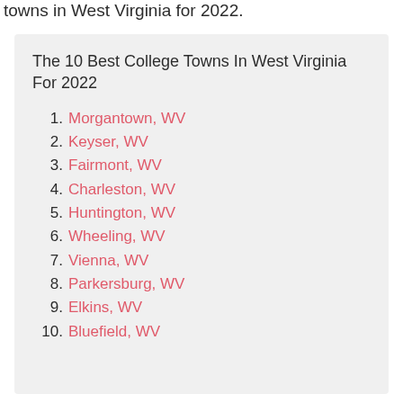towns in West Virginia for 2022.
The 10 Best College Towns In West Virginia For 2022
1. Morgantown, WV
2. Keyser, WV
3. Fairmont, WV
4. Charleston, WV
5. Huntington, WV
6. Wheeling, WV
7. Vienna, WV
8. Parkersburg, WV
9. Elkins, WV
10. Bluefield, WV